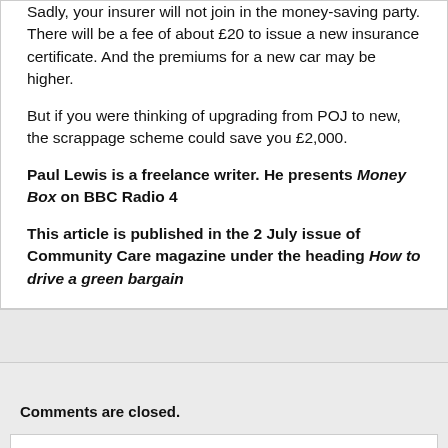Sadly, your insurer will not join in the money-saving party. There will be a fee of about £20 to issue a new insurance certificate. And the premiums for a new car may be higher.
But if you were thinking of upgrading from POJ to new, the scrappage scheme could save you £2,000.
Paul Lewis is a freelance writer. He presents Money Box on BBC Radio 4
This article is published in the 2 July issue of Community Care magazine under the heading How to drive a green bargain
Comments are closed.